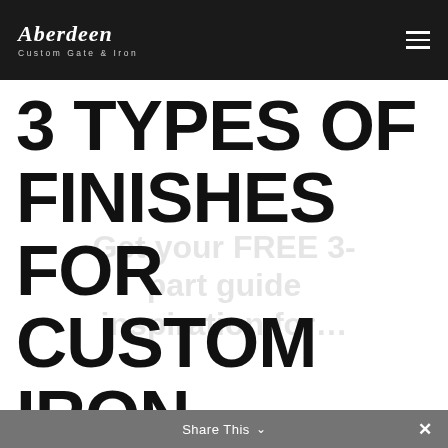Aberdeen Custom Gate & Iron
3 TYPES OF FINISHES FOR CUSTOM IRON GATES
Share This ∨  ✕